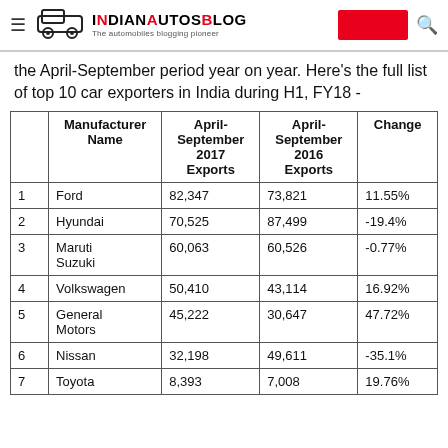IndianAutosBlog — The automobiles blogging pioneer
the April-September period year on year. Here's the full list of top 10 car exporters in India during H1, FY18 -
|  | Manufacturer Name | April-September 2017 Exports | April-September 2016 Exports | Change |
| --- | --- | --- | --- | --- |
| 1 | Ford | 82,347 | 73,821 | 11.55% |
| 2 | Hyundai | 70,525 | 87,499 | -19.4% |
| 3 | Maruti Suzuki | 60,063 | 60,526 | -0.77% |
| 4 | Volkswagen | 50,410 | 43,114 | 16.92% |
| 5 | General Motors | 45,222 | 30,647 | 47.72% |
| 6 | Nissan | 32,198 | 49,611 | -35.1% |
| 7 | Toyota | 8,393 | 7,008 | 19.76% |